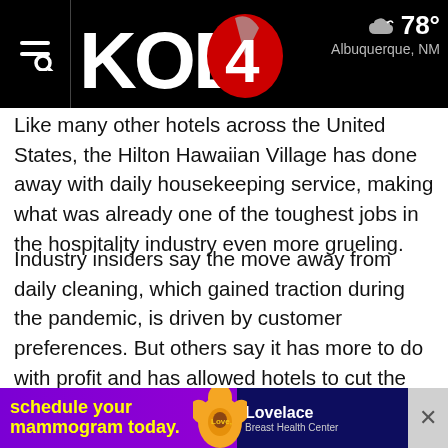KOB 4 — Albuquerque, NM — 78°
Like many other hotels across the United States, the Hilton Hawaiian Village has done away with daily housekeeping service, making what was already one of the toughest jobs in the hospitality industry even more grueling.
Industry insiders say the move away from daily cleaning, which gained traction during the pandemic, is driven by customer preferences. But others say it has more to do with profit and has allowed hotels to cut the number of housekeepers at a time when many of the mostly immigrant women who take those jobs are still reeling from lost work during coronavirus shutdowns.
Many housekeepers still employed say their hours have been cut and they are being asked to do far more work in that tim...
[Figure (screenshot): Advertisement banner for Lovelace Breast Health Center: 'schedule your mammogram today.' with sunflower graphic on purple background]